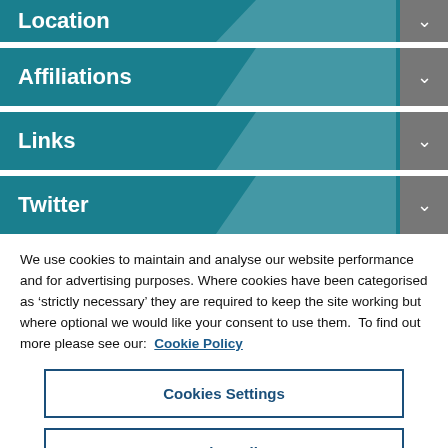Location
Affiliations
Links
Twitter
We use cookies to maintain and analyse our website performance and for advertising purposes. Where cookies have been categorised as ‘strictly necessary’ they are required to keep the site working but where optional we would like your consent to use them. To find out more please see our: Cookie Policy
Cookies Settings
Reject All